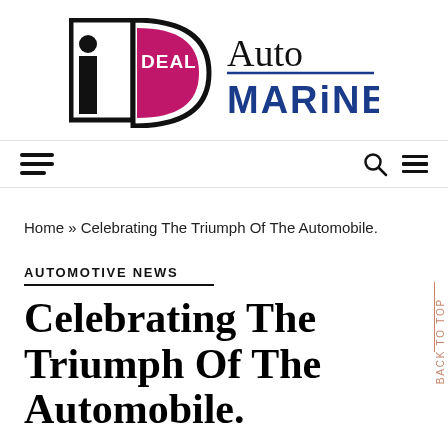[Figure (logo): Ideal Auto Marine logo with a stylized 'iD' monogram in a D-shaped frame with pink/magenta fill and black border, beside 'Auto' in serif black and 'MARINE' in bold blue sans-serif capitals with a blue underline]
[Figure (other): Navigation bar with hamburger menu icon on left and search + menu icons on right]
Home » Celebrating The Triumph Of The Automobile.
AUTOMOTIVE NEWS
Celebrating The Triumph Of The Automobile.